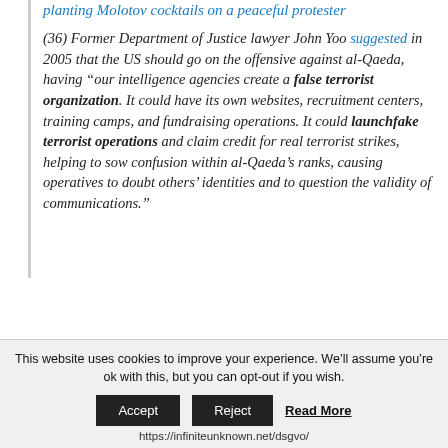planting Molotov cocktails on a peaceful protester
(36) Former Department of Justice lawyer John Yoo suggested in 2005 that the US should go on the offensive against al-Qaeda, having “our intelligence agencies create a false terrorist organization. It could have its own websites, recruitment centers, training camps, and fundraising operations. It could launchfake terrorist operations and claim credit for real terrorist strikes, helping to sow confusion within al-Qaeda’s ranks, causing operatives to doubt others’ identities and to question the validity of communications.”
This website uses cookies to improve your experience. We’ll assume you’re ok with this, but you can opt-out if you wish.
https://infiniteunknown.net/dsgvo/